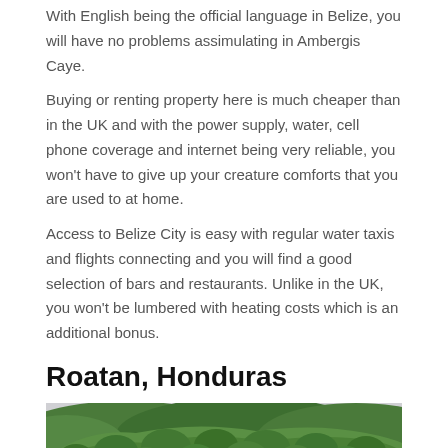With English being the official language in Belize, you will have no problems assimulating in Ambergis Caye. Buying or renting property here is much cheaper than in the UK and with the power supply, water, cell phone coverage and internet being very reliable, you won't have to give up your creature comforts that you are used to at home.

Access to Belize City is easy with regular water taxis and flights connecting and you will find a good selection of bars and restaurants. Unlike in the UK, you won't be lumbered with heating costs which is an additional bonus.
Roatan, Honduras
[Figure (photo): Photograph of Roatan, Honduras showing yellow/cream colored buildings with red-brown roofs in the foreground and lush green forested hills in the background under a grey sky.]